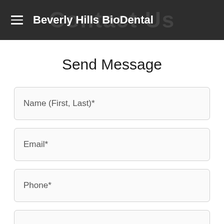Beverly Hills BioDental
Send Message
Name (First, Last)*
Email*
Phone*